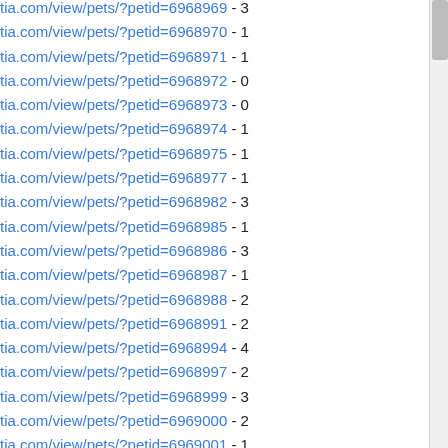tia.com/view/pets/?petid=6968969 - 3
tia.com/view/pets/?petid=6968970 - 1
tia.com/view/pets/?petid=6968971 - 1
tia.com/view/pets/?petid=6968972 - 0
tia.com/view/pets/?petid=6968973 - 0
tia.com/view/pets/?petid=6968974 - 1
tia.com/view/pets/?petid=6968975 - 1
tia.com/view/pets/?petid=6968977 - 1
tia.com/view/pets/?petid=6968982 - 3
tia.com/view/pets/?petid=6968985 - 1
tia.com/view/pets/?petid=6968986 - 3
tia.com/view/pets/?petid=6968987 - 1
tia.com/view/pets/?petid=6968988 - 2
tia.com/view/pets/?petid=6968991 - 2
tia.com/view/pets/?petid=6968994 - 4
tia.com/view/pets/?petid=6968997 - 2
tia.com/view/pets/?petid=6968999 - 3
tia.com/view/pets/?petid=6969000 - 2
tia.com/view/pets/?petid=6969001 - 1
tia.com/view/pets/?petid=6972538 - 2
tia.com/view/pets/?petid=6972539 - 3
tia.com/view/pets/?petid=6972540 - 2
tia.com/view/pets/?petid=6972541 - 5
tia.com/view/pets/?petid=6972542 - 2
tia.com/view/pets/?petid=6972543 - 2